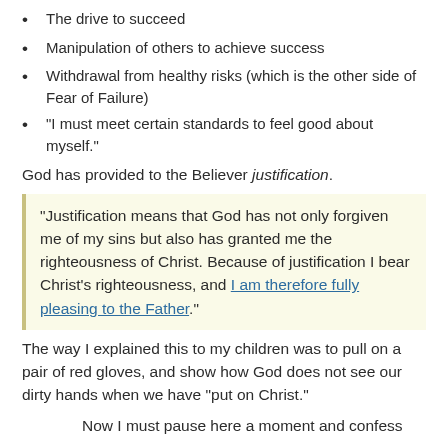The drive to succeed
Manipulation of others to achieve success
Withdrawal from healthy risks (which is the other side of Fear of Failure)
“I must meet certain standards to feel good about myself.”
God has provided to the Believer justification.
“Justification means that God has not only forgiven me of my sins but also has granted me the righteousness of Christ. Because of justification I bear Christ’s righteousness, and I am therefore fully pleasing to the Father.”
The way I explained this to my children was to pull on a pair of red gloves, and show how God does not see our dirty hands when we have “put on Christ.”
Now I must pause here a moment and confess